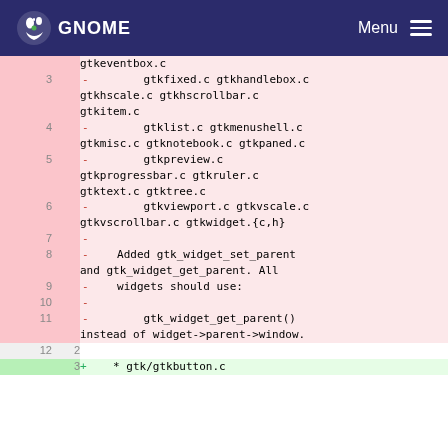GNOME  Menu
Code diff view showing GTK source file changes with line numbers and diff operators. Lines 3-11 shown as deletions (red background), lines 12 and 3 shown as neutral/addition (green background). Content includes gtk file names and widget function references.